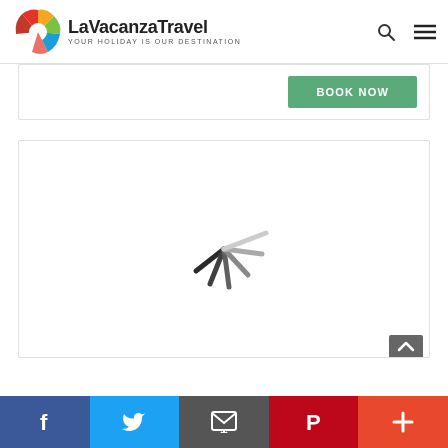LaVacanzaTravel — YOUR HOLIDAY IS OUR DESTINATION
[Figure (screenshot): White card section with a green BOOK NOW button on the right side]
[Figure (screenshot): Loading spinner animation (dark to light grey radiating lines) centered in a white card panel]
Social sharing bar: Facebook, Twitter, Email, Pinterest, Plus